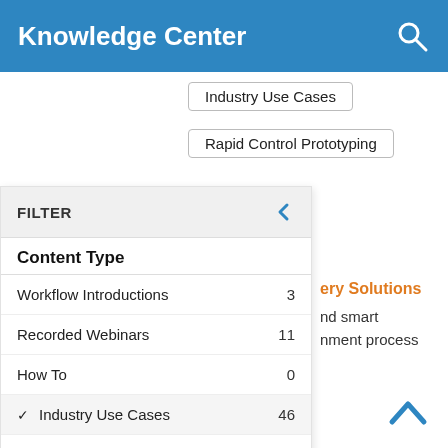Knowledge Center
Industry Use Cases
Rapid Control Prototyping
FILTER
Content Type
Workflow Introductions   3
Recorded Webinars   11
How To   0
✓ Industry Use Cases   46
Success Stories   29
Reference Applications   4
✓ Whitepapers   2
ery Solutions
nd smart
nment process